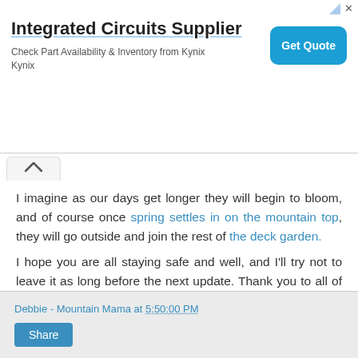[Figure (other): Advertisement banner for Integrated Circuits Supplier by Kynix with a Get Quote button]
I imagine as our days get longer they will begin to bloom, and of course once spring settles in on the mountain top, they will go outside and join the rest of the deck garden.
I hope you are all staying safe and well, and I'll try not to leave it as long before the next update. Thank you to all of you who have reached out to make sure I'm ok - I truly do miss all of you, I am just having a hard time balancing my work and personal life, I need to get better at that.
Until next time, my friends xo
Debbie - Mountain Mama at 5:50:00 PM  Share